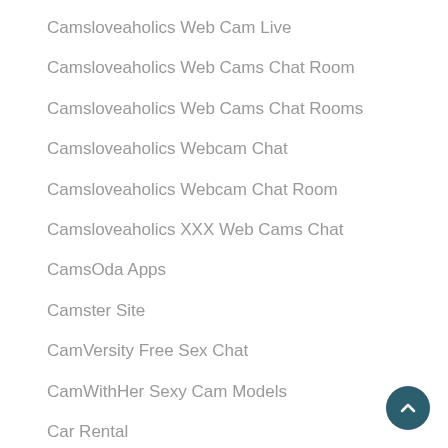Camsloveaholics Web Cam Live
Camsloveaholics Web Cams Chat Room
Camsloveaholics Web Cams Chat Rooms
Camsloveaholics Webcam Chat
Camsloveaholics Webcam Chat Room
Camsloveaholics XXX Web Cams Chat
CamsOda Apps
Camster Site
CamVersity Free Sex Chat
CamWithHer Sexy Cam Models
Car Rental
car title loans near me